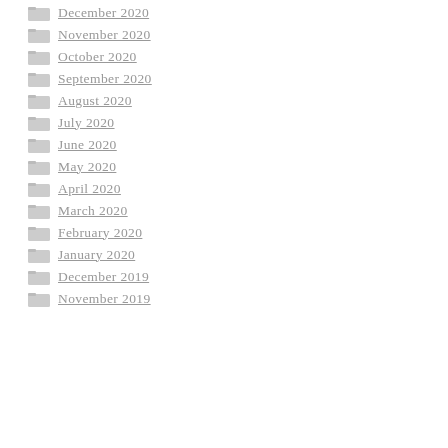December 2020
November 2020
October 2020
September 2020
August 2020
July 2020
June 2020
May 2020
April 2020
March 2020
February 2020
January 2020
December 2019
November 2019